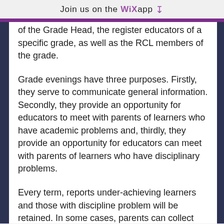Join us on the WiX app
of the Grade Head, the register educators of a specific grade, as well as the RCL members of the grade.
Grade evenings have three purposes. Firstly, they serve to communicate general information. Secondly, they provide an opportunity for educators to meet with parents of learners who have academic problems and, thirdly, they provide an opportunity for educators can meet with parents of learners who have disciplinary problems.
Every term, reports under-achieving learners and those with discipline problem will be retained. In some cases, parents can collect these at the grade evening. All subject educators will be present at the evening and have the relevant assessment records with them in order to discuss the learner's problems with his/her